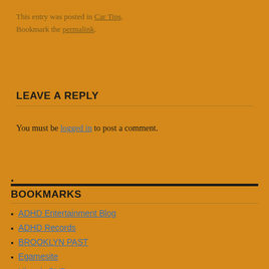This entry was posted in Car Tips. Bookmark the permalink.
LEAVE A REPLY
You must be logged in to post a comment.
BOOKMARKS
ADHD Entertainment Blog
ADHD Records
BROOKLYN PAST
Egamesite
Historic DVDs
Hudson Valley Car Shows